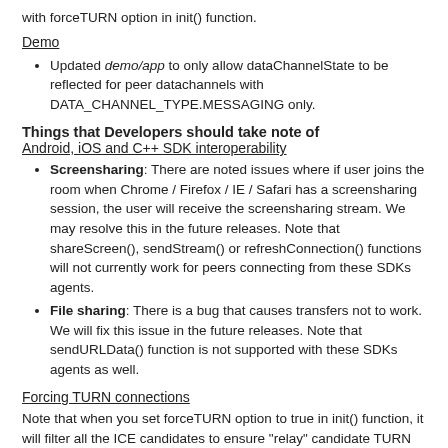with forceTURN option in init() function.
Demo
Updated demo/app to only allow dataChannelState to be reflected for peer datachannels with DATA_CHANNEL_TYPE.MESSAGING only.
Things that Developers should take note of
Android, iOS and C++ SDK interoperability
Screensharing: There are noted issues where if user joins the room when Chrome / Firefox / IE / Safari has a screensharing session, the user will receive the screensharing stream. We may resolve this in the future releases. Note that shareScreen(), sendStream() or refreshConnection() functions will not currently work for peers connecting from these SDKs agents.
File sharing: There is a bug that causes transfers not to work. We will fix this issue in the future releases. Note that sendURLData() function is not supported with these SDKs agents as well.
Forcing TURN connections
Note that when you set forceTURN option to true in init() function, it will filter all the ICE candidates to ensure "relay" candidate TURN connections. If you do not have TURN enabled for the Application Key used, the connections will NOT work.
However, when connecting Firefox and Safari / IE, issues were noted